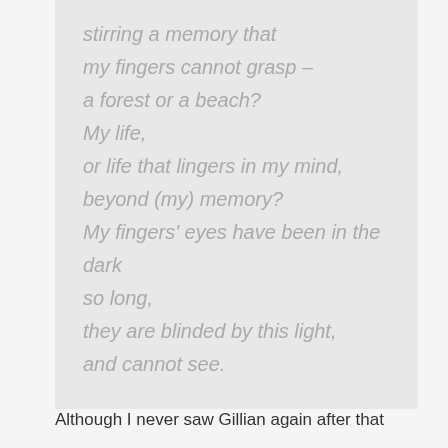stirring a memory that
my fingers cannot grasp –
a forest or a beach?
My life,
or life that lingers in my mind,
beyond (my) memory?
My fingers' eyes have been in the dark
so long,
they are blinded by this light,
and cannot see.
Although I never saw Gillian again after that